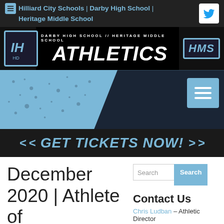Hilliard City Schools | Darby High School | Heritage Middle School
[Figure (logo): Darby High School // Heritage Middle School Athletics header with logos]
[Figure (infographic): Athletics banner hero image with light blue and dark background]
< < GET TICKETS NOW! > >
December 2020 | Athlete of
Search
Contact Us
Chris Ludban – Athletic Director